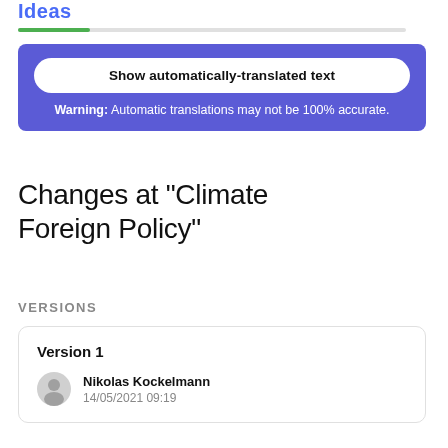Ideas
[Figure (other): Green progress bar partially filled on a light gray track]
Show automatically-translated text
Warning: Automatic translations may not be 100% accurate.
Changes at "Climate Foreign Policy"
VERSIONS
Version 1
Nikolas Kockelmann
14/05/2021 09:19